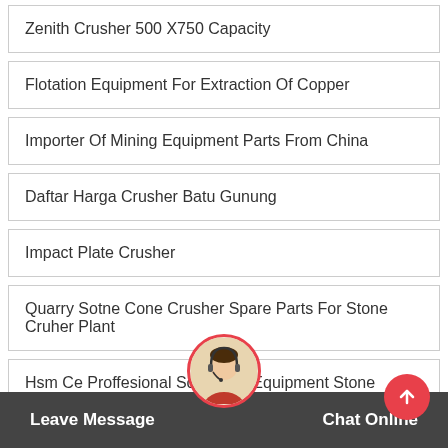Zenith Crusher 500 X750 Capacity
Flotation Equipment For Extraction Of Copper
Importer Of Mining Equipment Parts From China
Daftar Harga Crusher Batu Gunung
Impact Plate Crusher
Quarry Sotne Cone Crusher Spare Parts For Stone Cruher Plant
Hsm Ce Proffesional Screening Equipment Stone Vibrating ...
Pendulum Grinder Vertical Raymond Mill
Leave Message   Chat Online